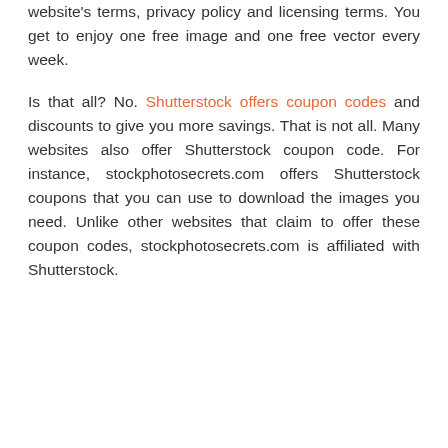website's terms, privacy policy and licensing terms. You get to enjoy one free image and one free vector every week.
Is that all? No. Shutterstock offers coupon codes and discounts to give you more savings. That is not all. Many websites also offer Shutterstock coupon code. For instance, stockphotosecrets.com offers Shutterstock coupons that you can use to download the images you need. Unlike other websites that claim to offer these coupon codes, stockphotosecrets.com is affiliated with Shutterstock.